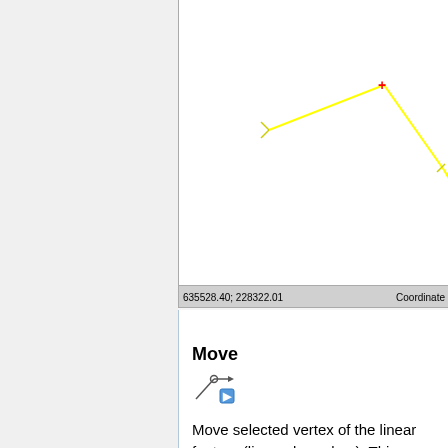[Figure (screenshot): Screenshot of wxGUI vector digitizer showing a polyline with vertices marked on a white map canvas. One vertex is highlighted in red (+), others are yellow arrows. The status bar shows coordinates '635528.40; 228322.01' and 'Coordinate' label. Below the map area is a bar reading 'wxGUI vector digitizer - select vertex to be remo']
Move
[Figure (illustration): Icon showing a line with a circle vertex and an arrow pointing right with a blue square, representing the Move vertex tool.]
Move selected vertex of the linear feature (line or boundary). This operation will change the shape of the selected feature.